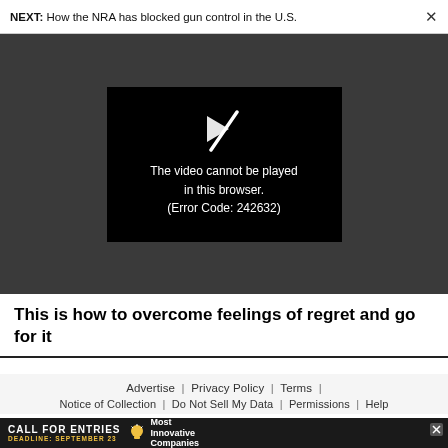NEXT: How the NRA has blocked gun control in the U.S.
[Figure (screenshot): Video player showing error message: 'The video cannot be played in this browser. (Error Code: 242632)']
This is how to overcome feelings of regret and go for it
Advertise | Privacy Policy | Terms | Notice of Collection | Do Not Sell My Data | Permissions | Help
[Figure (infographic): Advertisement banner: CALL FOR ENTRIES DEADLINE: SEPTEMBER 23 Most Innovative Companies]